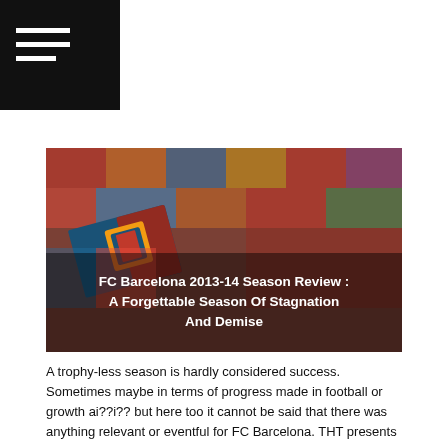☰ (hamburger menu)
[Figure (photo): Aerial view of FC Barcelona fans in stadium stands holding a large FC Barcelona flag/banner, with colorful crowd in background. Overlaid text reads: FC Barcelona 2013-14 Season Review : A Forgettable Season Of Stagnation And Demise]
FC Barcelona 2013-14 Season Review : A Forgettable Season Of Stagnation And Demise
A trophy-less season is hardly considered success. Sometimes maybe in terms of progress made in football or growth ai??i?? but here too it cannot be said that there was anything relevant or eventful for FC Barcelona. THT presents the Barcelona season review.